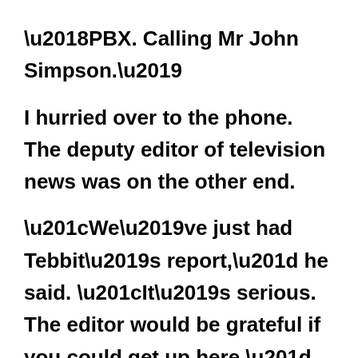'PBX. Calling Mr John Simpson.' I hurried over to the phone. The deputy editor of television news was on the other end. “We’ve just had Tebbit’s report,” he said. “It’s serious. The editor would be grateful if you could get up here.” I finished my fish and went up. A small